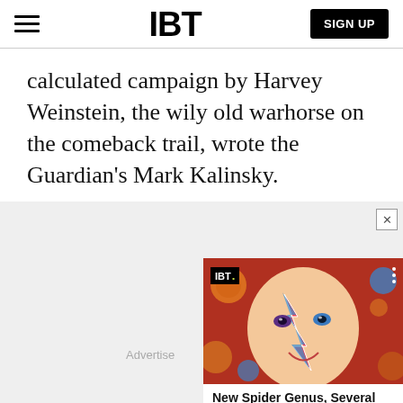IBT
calculated campaign by Harvey Weinstein, the wily old warhorse on the comeback trail, wrote the Guardian's Mark Kalinsky.
[Figure (screenshot): Advertisement area with IBT video card showing 'New Spider Genus, Several New Species...' with a colorful face image on a red background]